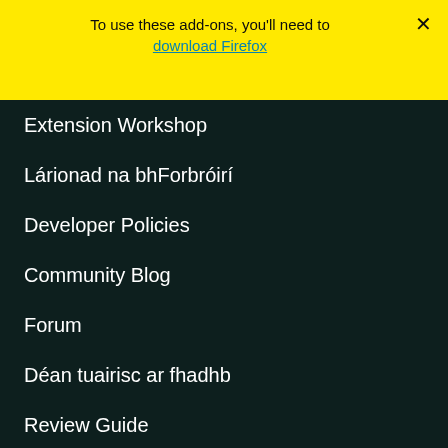To use these add-ons, you'll need to download Firefox
Extension Workshop
Lárionad na bhForbróirí
Developer Policies
Community Blog
Forum
Déan tuairisc ar fhadhb
Review Guide
Browsers
Desktop
Mobile